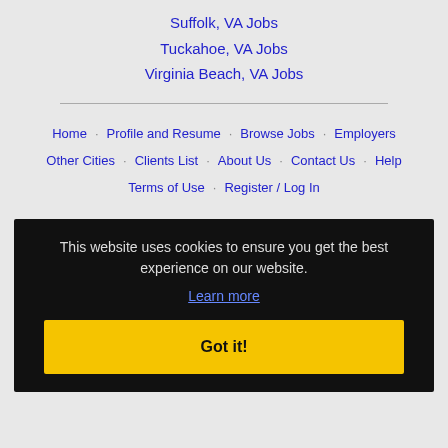Suffolk, VA Jobs
Tuckahoe, VA Jobs
Virginia Beach, VA Jobs
Home · Profile and Resume · Browse Jobs · Employers · Other Cities · Clients List · About Us · Contact Us · Help · Terms of Use · Register / Log In
This website uses cookies to ensure you get the best experience on our website. Learn more Got it!